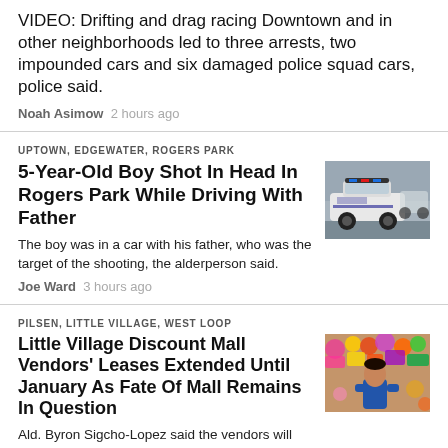VIDEO: Drifting and drag racing Downtown and in other neighborhoods led to three arrests, two impounded cars and six damaged police squad cars, police said.
Noah Asimow  2 hours ago
UPTOWN, EDGEWATER, ROGERS PARK
5-Year-Old Boy Shot In Head In Rogers Park While Driving With Father
The boy was in a car with his father, who was the target of the shooting, the alderperson said.
Joe Ward  3 hours ago
[Figure (photo): Police car — white SUV police vehicle]
PILSEN, LITTLE VILLAGE, WEST LOOP
Little Village Discount Mall Vendors' Leases Extended Until January As Fate Of Mall Remains In Question
Ald. Byron Sigcho-Lopez said the vendors will meet with the mall's owner for the first
[Figure (photo): Market vendor surrounded by colorful goods]